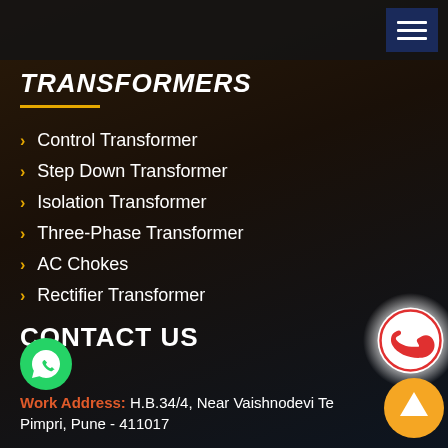[Figure (other): Hamburger menu button (dark navy blue square with three white horizontal lines)]
TRANSFORMERS
Control Transformer
Step Down Transformer
Isolation Transformer
Three-Phase Transformer
AC Chokes
Rectifier Transformer
CONTACT US
[Figure (logo): WhatsApp green circle icon]
Work Address: H.B.34/4, Near Vaishnodevi Te... Pimpri, Pune - 411017
[Figure (other): Phone call red circle icon with white glow]
[Figure (other): Orange circle with white upward arrow (scroll to top)]